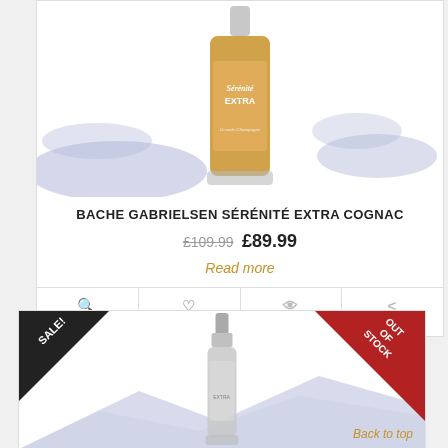[Figure (photo): Bache Gabrielsen Sérénité Extra Cognac bottle with orange/amber label and blue brushstroke background]
BACHE GABRIELSEN SÉRÉNITÉ EXTRA COGNAC
£109.99 £89.99
Read more
DETAILS | WISHLIST | COMPARE | SHARE
[Figure (photo): Second cognac bottle product card with SALE! badge and OUT OF STOCK badge, blue brushstroke background, with Back to top link]